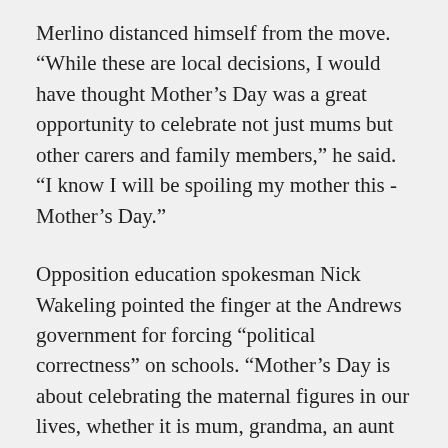Merlino distanced himself from the move. “While these are local decisions, I would have thought Mother’s Day was a great opportunity to celebrate not just mums but other carers and family members,” he said. “I know I will be spoiling my mother this - Mother’s Day.”
Opposition education spokesman Nick Wakeling pointed the finger at the Andrews government for forcing “political correctness” on schools. “Mother’s Day is about celebrating the maternal figures in our lives, whether it is mum, grandma, an aunt or a female mentor, and honouring their contribution as women in society,” he said. “If it’s not banning the signing of